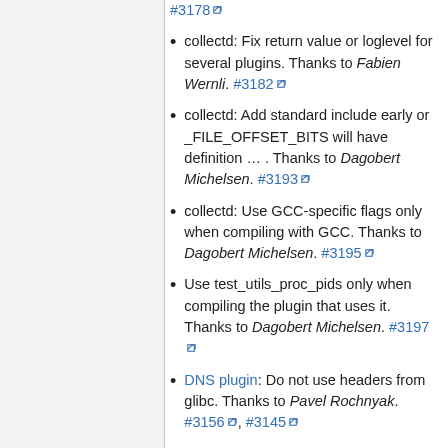#3178
collectd: Fix return value or loglevel for several plugins. Thanks to Fabien Wernli. #3182
collectd: Add standard include early or _FILE_OFFSET_BITS will have definition … . Thanks to Dagobert Michelsen. #3193
collectd: Use GCC-specific flags only when compiling with GCC. Thanks to Dagobert Michelsen. #3195
Use test_utils_proc_pids only when compiling the plugin that uses it. Thanks to Dagobert Michelsen. #3197
DNS plugin: Do not use headers from glibc. Thanks to Pavel Rochnyak. #3156, #3145
collectd: Add missing definitions for libnetsmnagent. Thanks to